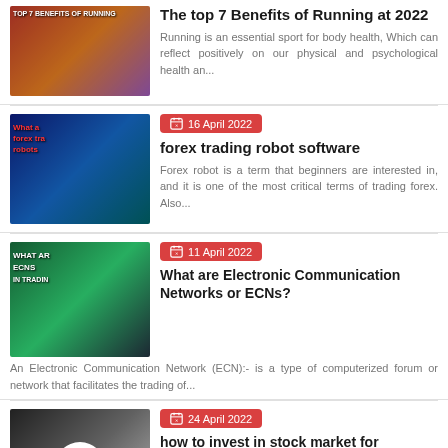[Figure (photo): Thumbnail image of people running at a race event]
The top 7 Benefits of Running at 2022
Running is an essential sport for body health, Which can reflect positively on our physical and psychological health an...
[Figure (photo): Thumbnail image about forex trading robots with blue stock market background]
16 April 2022
forex trading robot software
Forex robot is a term that beginners are interested in, and it is one of the most critical terms of trading forex. Also...
[Figure (photo): Thumbnail image about ECNs in trading with green stock chart background]
11 April 2022
What are Electronic Communication Networks or ECNs?
An Electronic Communication Network (ECN):- is a type of computerized forum or network that facilitates the trading of...
[Figure (photo): Thumbnail image about stock market investing with app icon]
24 April 2022
how to invest in stock market for beginners | How to Buy Stocks Online (2022)
In this guide, we will explain how to buy shares on the stock market without fixed